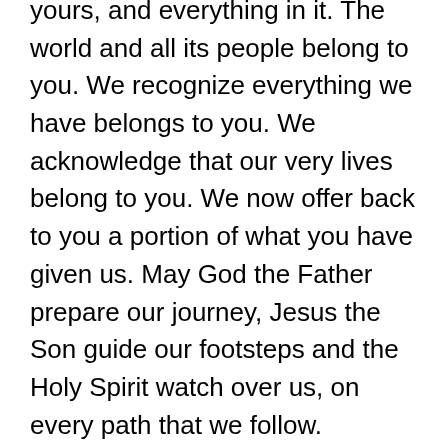your path. Your Word says that the earth is yours, and everything in it. The world and all its people belong to you. We recognize everything we have belongs to you. We acknowledge that our very lives belong to you. We now offer back to you a portion of what you have given us. May God the Father prepare our journey, Jesus the Son guide our footsteps and the Holy Spirit watch over us, on every path that we follow. Through Jesus Christ, our Lord, Amen.
Bless Our Offerings Prayer
Lord, my Rock and Redeemer, thank you that you are infinitely, consistently, and perfectly wise. You have said that whatever